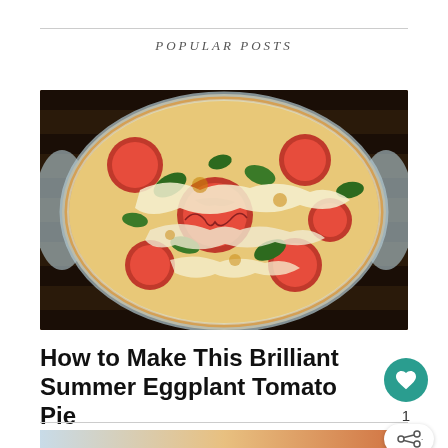POPULAR POSTS
[Figure (photo): Overhead close-up of a round glass baking dish containing a tomato and eggplant pie topped with melted cheese and fresh herbs including basil, set on a dark wooden mat]
How to Make This Brilliant Summer Eggplant Tomato Pie